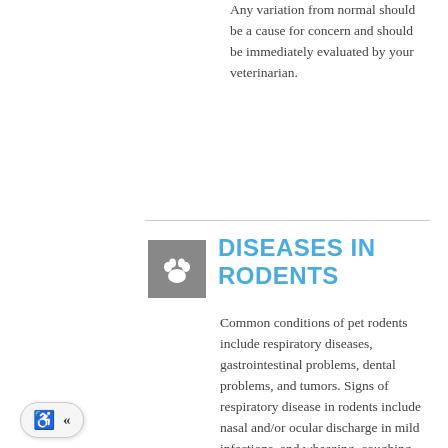Any variation from normal should be a cause for concern and should be immediately evaluated by your veterinarian.
DISEASES IN RODENTS
Common conditions of pet rodents include respiratory diseases, gastrointestinal problems, dental problems, and tumors. Signs of respiratory disease in rodents include nasal and/or ocular discharge in mild infections, and wheezing, coughing, and open-mouth breathing in severe infections. Gastrointestinal disease, including diarrhea from various causes and